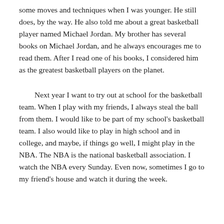some moves and techniques when I was younger. He still does, by the way. He also told me about a great basketball player named Michael Jordan. My brother has several books on Michael Jordan, and he always encourages me to read them. After I read one of his books, I considered him as the greatest basketball players on the planet.
Next year I want to try out at school for the basketball team. When I play with my friends, I always steal the ball from them. I would like to be part of my school's basketball team. I also would like to play in high school and in college, and maybe, if things go well, I might play in the NBA. The NBA is the national basketball association. I watch the NBA every Sunday. Even now, sometimes I go to my friend's house and watch it during the week.